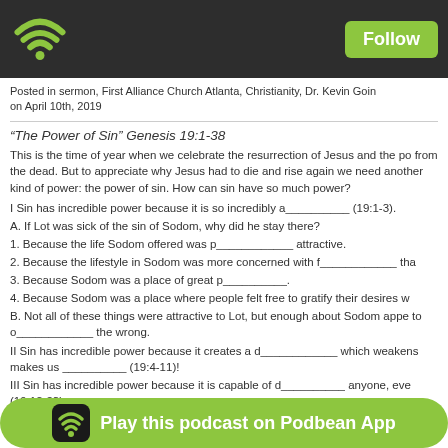Follow
Posted in sermon, First Alliance Church Atlanta, Christianity, Dr. Kevin Goin on April 10th, 2019
“The Power of Sin” Genesis 19:1-38
This is the time of year when we celebrate the resurrection of Jesus and the po from the dead. But to appreciate why Jesus had to die and rise again we need another kind of power: the power of sin. How can sin have so much power?
I Sin has incredible power because it is so incredibly a__________ (19:1-3).
A. If Lot was sick of the sin of Sodom, why did he stay there?
1. Because the life Sodom offered was p____________ attractive.
2. Because the lifestyle in Sodom was more concerned with f____________ tha
3. Because Sodom was a place of great p__________.
4. Because Sodom was a place where people felt free to gratify their desires w
B. Not all of these things were attractive to Lot, but enough about Sodom appe to o____________ the wrong.
II Sin has incredible power because it creates a d____________ which weakens makes us __________ (19:4-11)!
III Sin has incredible power because it is capable of d__________ anyone, eve (19:12-23).
-Lot is a double-minded man: He doesn’t want to ______ with the people of So ______ without their lifestyle either.
IV Sin has incredible power because it brings terrible d________________ (19:24-
-The power of sin works in us, not to s____________ our desires, but to r______ ou
V Sin ha Play this podcast on Podbean App n’t let go (19:30 A. The a ut they could
[Figure (screenshot): Podbean App play bar with green background, podcast app icon and text 'Play this podcast on Podbean App']